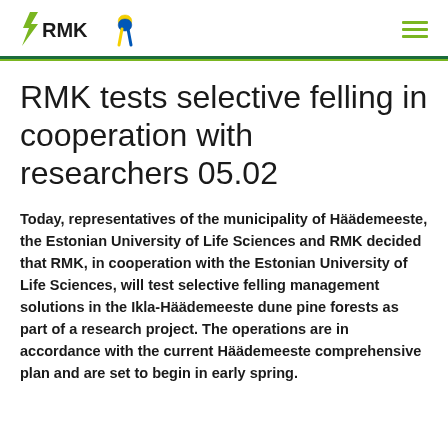RMK logo and navigation
RMK tests selective felling in cooperation with researchers 05.02
Today, representatives of the municipality of Häädemeeste, the Estonian University of Life Sciences and RMK decided that RMK, in cooperation with the Estonian University of Life Sciences, will test selective felling management solutions in the Ikla-Häädemeeste dune pine forests as part of a research project. The operations are in accordance with the current Häädemeeste comprehensive plan and are set to begin in early spring.